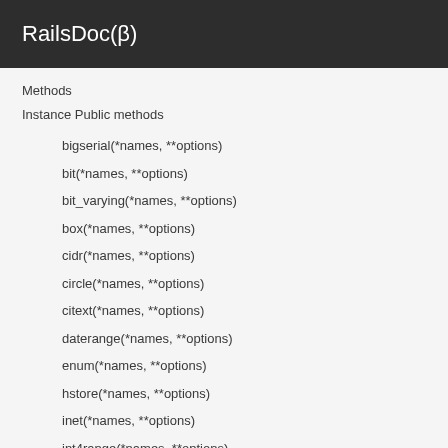RailsDoc(β)
Methods
Instance Public methods
bigserial(*names, **options)
bit(*names, **options)
bit_varying(*names, **options)
box(*names, **options)
cidr(*names, **options)
circle(*names, **options)
citext(*names, **options)
daterange(*names, **options)
enum(*names, **options)
hstore(*names, **options)
inet(*names, **options)
int4range(*names, **options)
int8range(*names, **options)
interval(*names, **options)